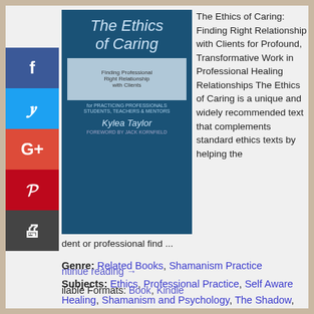[Figure (photo): Book cover of 'The Ethics of Caring: Finding Professional Right Relationship with Clients' by Kylea Taylor, foreword by Jack Kornfield. Blue cover with italic title text.]
The Ethics of Caring: Finding Right Relationship with Clients for Profound, Transformative Work in Professional Healing Relationships The Ethics of Caring is a unique and widely recommended text that complements standard ethics texts by helping the student or professional find ...
Continue reading →
Available Formats: Book, Kindle
Genre: Related Books, Shamanism Practice
Subjects: Ethics, Professional Practice, Self Aware Healing, Shamanism and Psychology, The Shadow, Working with Clients